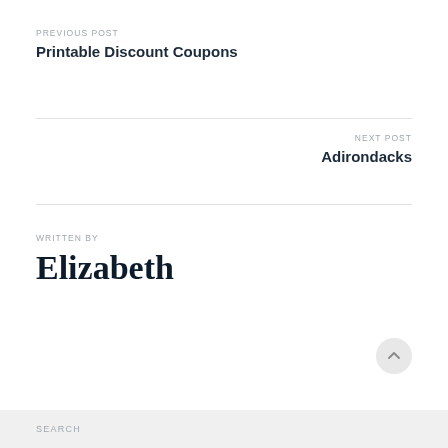PREVIOUS POST
Printable Discount Coupons
NEXT POST
Adirondacks
WRITTEN BY
Elizabeth
SEARCH